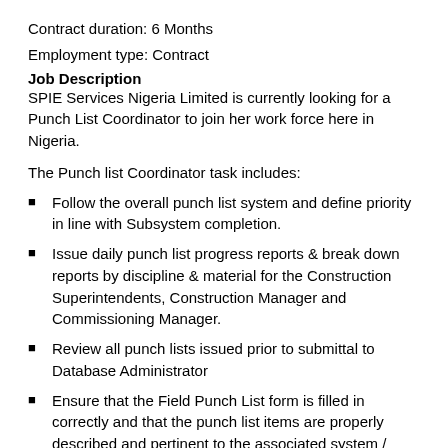Contract duration: 6 Months
Employment type: Contract
Job Description
SPIE Services Nigeria Limited is currently looking for a Punch List Coordinator to join her work force here in Nigeria.
The Punch list Coordinator task includes:
Follow the overall punch list system and define priority in line with Subsystem completion.
Issue daily punch list progress reports & break down reports by discipline & material for the Construction Superintendents, Construction Manager and Commissioning Manager.
Review all punch lists issued prior to submittal to Database Administrator
Ensure that the Field Punch List form is filled in correctly and that the punch list items are properly described and pertinent to the associated system / subsystem and are